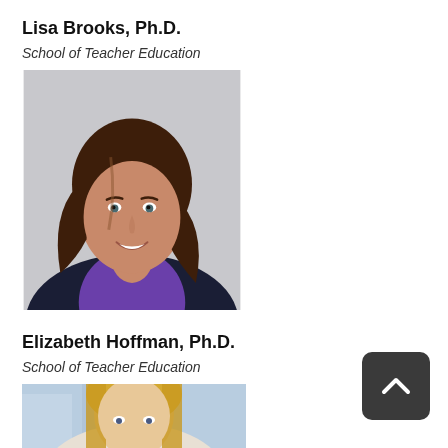Lisa Brooks, Ph.D.
School of Teacher Education
[Figure (photo): Professional headshot of Lisa Brooks, Ph.D. — a woman with long brown hair wearing a dark blazer and purple blouse, smiling, against a light grey background.]
Elizabeth Hoffman, Ph.D.
School of Teacher Education
[Figure (photo): Partial professional headshot of Elizabeth Hoffman, Ph.D. — a woman with blonde hair, shown from the shoulders up, cut off at bottom of page.]